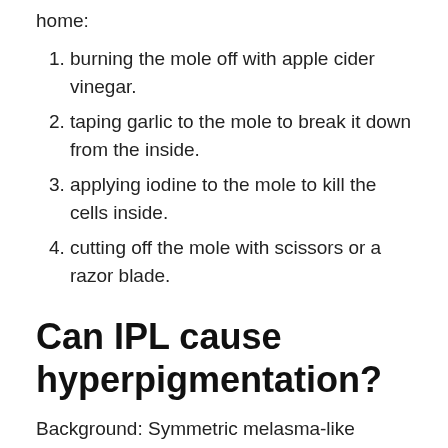home:
burning the mole off with apple cider vinegar.
taping garlic to the mole to break it down from the inside.
applying iodine to the mole to kill the cells inside.
cutting off the mole with scissors or a razor blade.
Can IPL cause hyperpigmentation?
Background: Symmetric melasma-like hyperpigmentation (MLH) has been identified in several patients following intense pulsed laser (IPL) treatment sessions. These